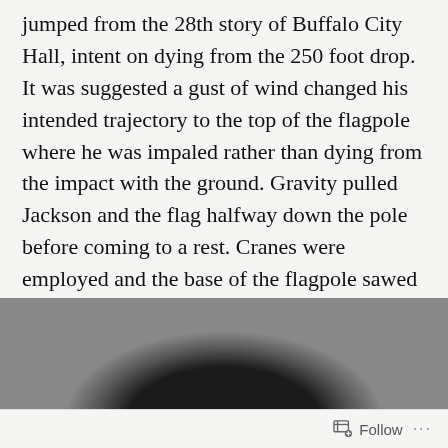jumped from the 28th story of Buffalo City Hall, intent on dying from the 250 foot drop. It was suggested a gust of wind changed his intended trajectory to the top of the flagpole where he was impaled rather than dying from the impact with the ground. Gravity pulled Jackson and the flag halfway down the pole before coming to a rest. Cranes were employed and the base of the flagpole sawed off to help remove Jackson's body while 200 people looked on.
[Figure (photo): Partial black and white photograph showing a dark rounded shape (head) against a gray textured background, cropped at the bottom of the page.]
Follow ···